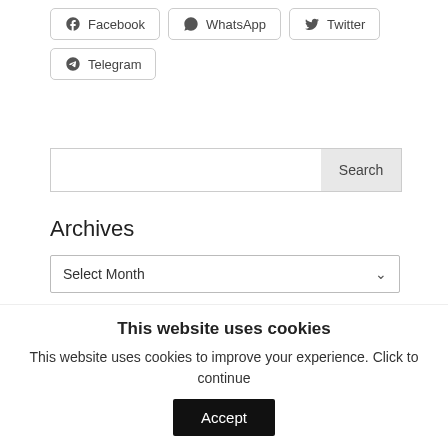Facebook
WhatsApp
Twitter
Telegram
Search
Archives
Select Month
| M | T | W | T | F | S | S |
| --- | --- | --- | --- | --- | --- | --- |
This website uses cookies
This website uses cookies to improve your experience. Click to continue
Accept